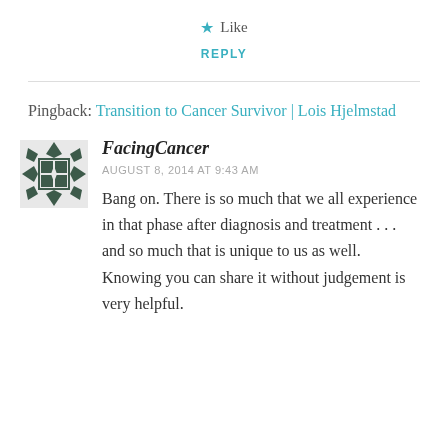★ Like
REPLY
Pingback: Transition to Cancer Survivor | Lois Hjelmstad
FacingCancer
AUGUST 8, 2014 AT 9:43 AM
Bang on. There is so much that we all experience in that phase after diagnosis and treatment . . . and so much that is unique to us as well. Knowing you can share it without judgement is very helpful.